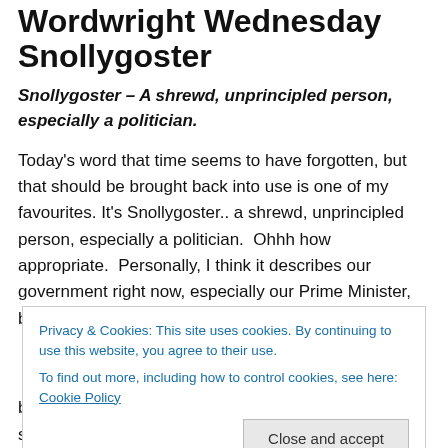Wordwright Wednesday Snollygoster
Snollygoster – A shrewd, unprincipled person, especially a politician.
Today's word that time seems to have forgotten, but that should be brought back into use is one of my favourites. It's Snollygoster.. a shrewd, unprincipled person, especially a politician.  Ohhh how appropriate.  Personally, I think it describes our government right now, especially our Prime Minister, but I won't get too political here as if I
Privacy & Cookies: This site uses cookies. By continuing to use this website, you agree to their use.
To find out more, including how to control cookies, see here: Cookie Policy
blanketed a huge amount of this country in choking smoke